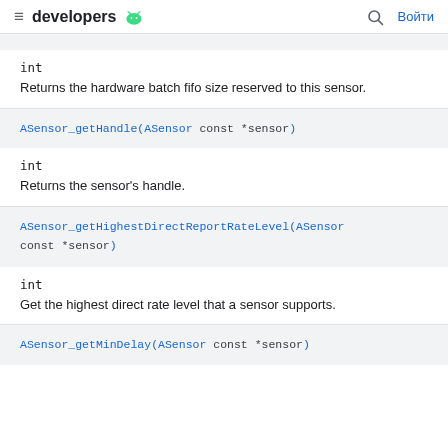developers [android icon] | [search icon] Войти
int
Returns the hardware batch fifo size reserved to this sensor.
ASensor_getHandle(ASensor const *sensor)
int
Returns the sensor's handle.
ASensor_getHighestDirectReportRateLevel(ASensor const *sensor)
int
Get the highest direct rate level that a sensor supports.
ASensor_getMinDelay(ASensor const *sensor)